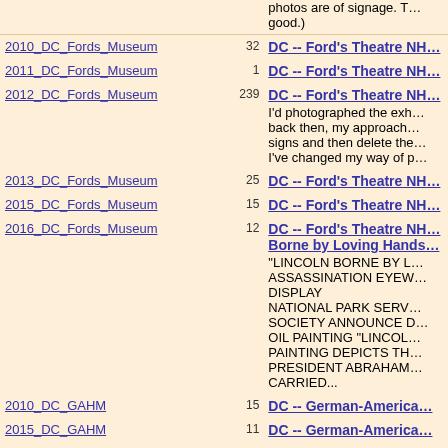| Folder | Count | Description |
| --- | --- | --- |
| (partial top row) |  | photos are of signage. T… good.) |
| 2010_DC_Fords_Museum | 32 | DC -- Ford's Theatre NH… |
| 2011_DC_Fords_Museum | 1 | DC -- Ford's Theatre NH… |
| 2012_DC_Fords_Museum | 239 | DC -- Ford's Theatre NH… I'd photographed the exh… back then, my approach… signs and then delete the… I've changed my way of p… |
| 2013_DC_Fords_Museum | 25 | DC -- Ford's Theatre NH… |
| 2015_DC_Fords_Museum | 15 | DC -- Ford's Theatre NH… |
| 2016_DC_Fords_Museum | 12 | DC -- Ford's Theatre NH… Borne by Loving Hands… "LINCOLN BORNE BY L… ASSASSINATION EYEW… DISPLAY NATIONAL PARK SERV… SOCIETY ANNOUNCE D… OIL PAINTING "LINCOL… PAINTING DEPICTS TH… PRESIDENT ABRAHAM… CARRIED... |
| 2010_DC_GAHM | 15 | DC -- German-America… |
| 2015_DC_GAHM | 11 | DC -- German-America… |
| 2022_05_29E4_GAHM | 3 | DC -- German-America… |
| 2015_DC_GAHM_Hollywood_150620 | 38 | DC -- German-America… Years of Hollywood Pa… Delve into 100 years of h… |